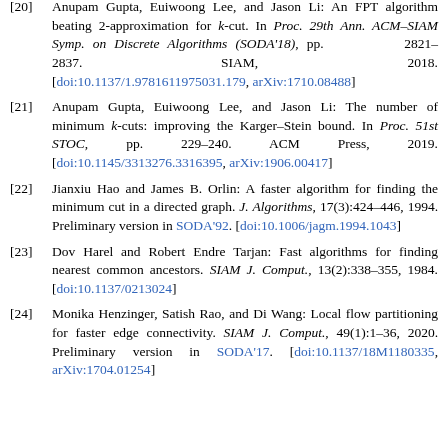[20] Anupam Gupta, Euiwoong Lee, and Jason Li: An FPT algorithm beating 2-approximation for k-cut. In Proc. 29th Ann. ACM–SIAM Symp. on Discrete Algorithms (SODA'18), pp. 2821–2837. SIAM, 2018. [doi:10.1137/1.9781611975031.179, arXiv:1710.08488]
[21] Anupam Gupta, Euiwoong Lee, and Jason Li: The number of minimum k-cuts: improving the Karger–Stein bound. In Proc. 51st STOC, pp. 229–240. ACM Press, 2019. [doi:10.1145/3313276.3316395, arXiv:1906.00417]
[22] Jianxiu Hao and James B. Orlin: A faster algorithm for finding the minimum cut in a directed graph. J. Algorithms, 17(3):424–446, 1994. Preliminary version in SODA'92. [doi:10.1006/jagm.1994.1043]
[23] Dov Harel and Robert Endre Tarjan: Fast algorithms for finding nearest common ancestors. SIAM J. Comput., 13(2):338–355, 1984. [doi:10.1137/0213024]
[24] Monika Henzinger, Satish Rao, and Di Wang: Local flow partitioning for faster edge connectivity. SIAM J. Comput., 49(1):1–36, 2020. Preliminary version in SODA'17. [doi:10.1137/18M1180335, arXiv:1704.01254]